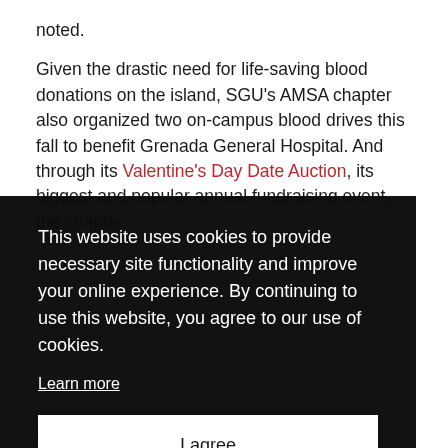noted.
Given the drastic need for life-saving blood donations on the island, SGU's AMSA chapter also organized two on-campus blood drives this fall to benefit Grenada General Hospital. And through its Valentine's Day Date Auction, its biggest and popular annual fundraising event, the chapter
This website uses cookies to provide necessary site functionality and improve your online experience. By continuing to use this website, you agree to our use of cookies. Learn more
I agree
the fall 2019 semester and a third-year med